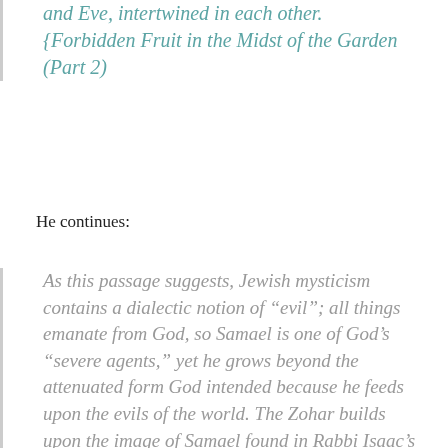and Eve, intertwined in each other. {Forbidden Fruit in the Midst of the Garden (Part 2)
He continues:
As this passage suggests, Jewish mysticism contains a dialectic notion of “evil”; all things emanate from God, so Samael is one of God’s “severe agents,” yet he grows beyond the attenuated form God intended because he feeds upon the evils of the world. The Zohar builds upon the image of Samael found in Rabbi Isaac’s text as the